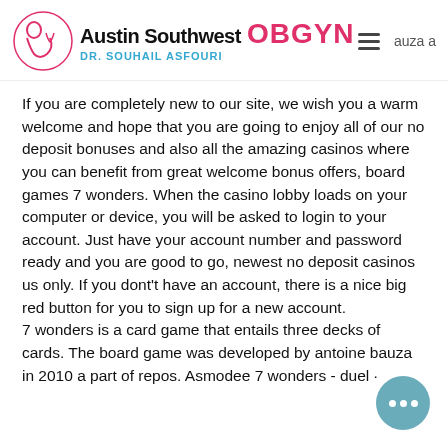Austin Southwest OBGYN DR. SOUHAIL ASFOURI
If you are completely new to our site, we wish you a warm welcome and hope that you are going to enjoy all of our no deposit bonuses and also all the amazing casinos where you can benefit from great welcome bonus offers, board games 7 wonders. When the casino lobby loads on your computer or device, you will be asked to login to your account. Just have your account number and password ready and you are good to go, newest no deposit casinos us only. If you dont't have an account, there is a nice big red button for you to sign up for a new account. 7 wonders is a card game that entails three decks of cards. The board game was developed by antoine bauza in 2010 and part of repos. Asmodee 7 wonders - duel ·